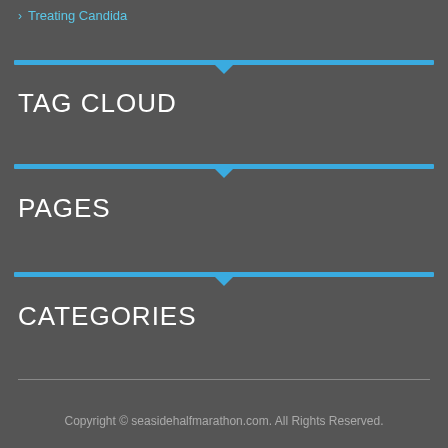Treating Candida
TAG CLOUD
PAGES
CATEGORIES
Copyright © seasidehalfmarathon.com. All Rights Reserved.